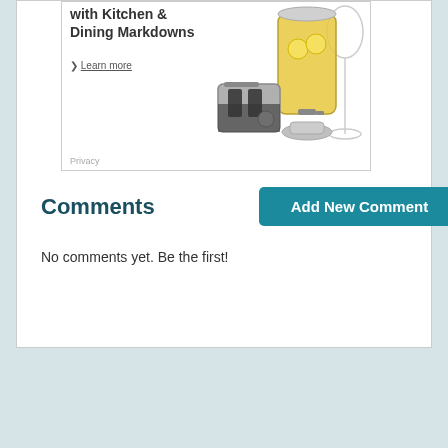[Figure (photo): Advertisement showing kitchen and dining products including a toaster, beverage dispenser with lemonade, and a wine glass. Text reads 'with Kitchen & Dining Markdowns' and '> Learn more'. 'Privacy' text at bottom left.]
Comments
No comments yet. Be the first!